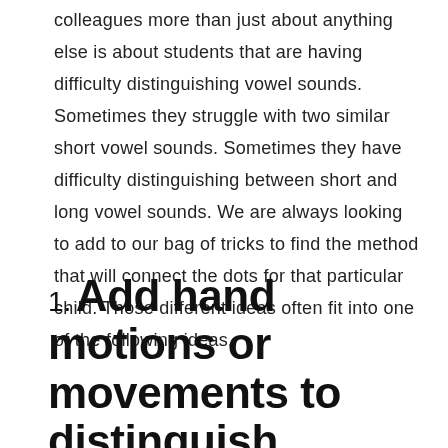colleagues more than just about anything else is about students that are having difficulty distinguishing vowel sounds. Sometimes they struggle with two similar short vowel sounds. Sometimes they have difficulty distinguishing between short and long vowel sounds. We are always looking to add to our bag of tricks to find the method that will connect the dots for that particular child. Those different ideas often fit into one of the following ideas.
1. Add hand motions or movements to distinguish between